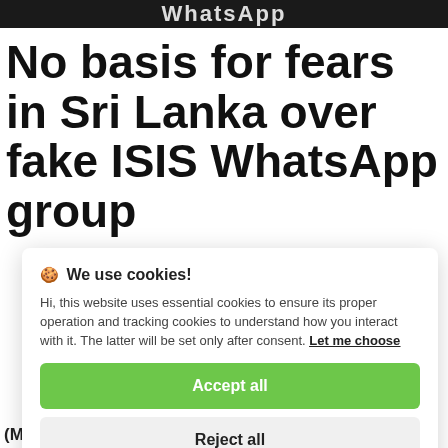[Figure (photo): Dark banner image at top of webpage with white WhatsApp-related logo text on black background]
No basis for fears in Sri Lanka over fake ISIS WhatsApp group
🍪 We use cookies!

Hi, this website uses essential cookies to ensure its proper operation and tracking cookies to understand how you interact with it. The latter will be set only after consent. Let me choose

[Accept all]

[Reject all]
(MENAEN-   Colombo   Gazette)  The